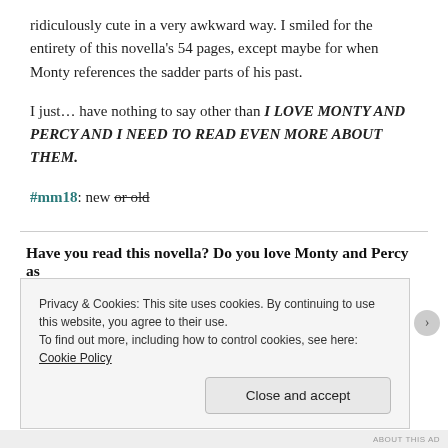ridiculously cute in a very awkward way. I smiled for the entirety of this novella's 54 pages, except maybe for when Monty references the sadder parts of his past.
I just… have nothing to say other than I LOVE MONTY AND PERCY AND I NEED TO READ EVEN MORE ABOUT THEM.
#mm18: new or old
Have you read this novella? Do you love Monty and Percy as
Privacy & Cookies: This site uses cookies. By continuing to use this website, you agree to their use.
To find out more, including how to control cookies, see here: Cookie Policy
Close and accept